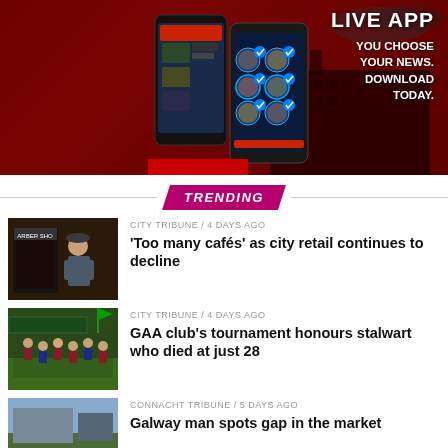[Figure (photo): App advertisement banner showing two smartphones with a news app interface, dark red background with a building silhouette, text reads LIVE APP YOU CHOOSE YOUR NEWS. DOWNLOAD TODAY.]
TRENDING
[Figure (photo): Thumbnail image of a person outside a barber shop]
CITY TRIBUNE / 4 days ago
‘Too many cafés’ as city retail continues to decline
[Figure (photo): Thumbnail image of a GAA club group photo outdoors]
CITY TRIBUNE / 4 days ago
GAA club’s tournament honours stalwart who died at just 28
[Figure (photo): Partial thumbnail image at bottom of page]
CONNACHT TRIBUNE / 5 days ago
Galway man spots gap in the market